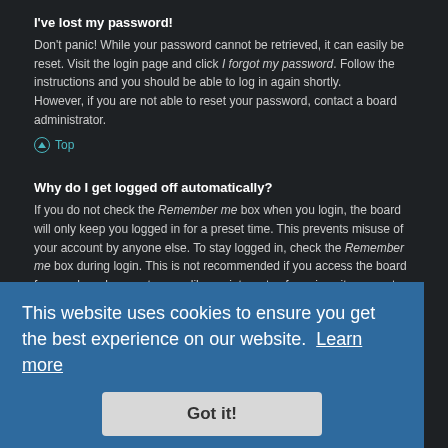I've lost my password!
Don't panic! While your password cannot be retrieved, it can easily be reset. Visit the login page and click I forgot my password. Follow the instructions and you should be able to log in again shortly. However, if you are not able to reset your password, contact a board administrator.
Top
Why do I get logged off automatically?
If you do not check the Remember me box when you login, the board will only keep you logged in for a preset time. This prevents misuse of your account by anyone else. To stay logged in, check the Remember me box during login. This is not recommended if you access the board from a shared computer, e.g. library, internet cafe, university computer lab, etc. If you do not see this checkbox, it means a board administrator has disabled this feature.
This website uses cookies to ensure you get the best experience on our website.  Learn more
Got it!
What does the "Delete cookies" do?
"Delete cookies" deletes the cookies created by phpBB which keep you authenticated and logged into the board. Cookies also provide functions such as read tracking if they have been enabled by a board administrator. If you are having login or logout problems, deleting